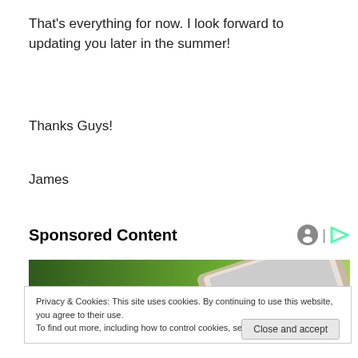That's everything for now. I look forward to updating you later in the summer!
Thanks Guys!
James
Sponsored Content
[Figure (photo): Photo of tablet/device on green background, partial view]
Privacy & Cookies: This site uses cookies. By continuing to use this website, you agree to their use.
To find out more, including how to control cookies, see here: Cookie Policy
Close and accept